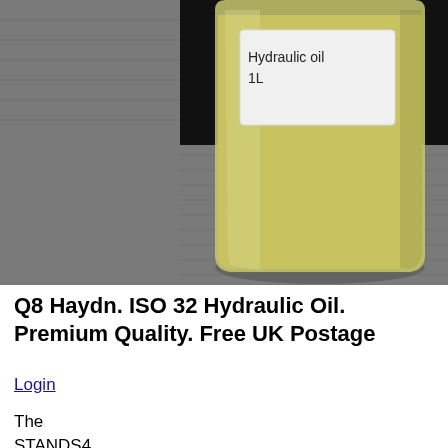[Figure (photo): A 1-litre plastic bottle of hydraulic oil with a white label reading 'Hydraulic oil 1L', sitting on a grey towel against a dark background. The oil inside is pale yellow-green.]
Q8 Haydn. ISO 32 Hydraulic Oil. Premium Quality. Free UK Postage
Login
The
STANDS4